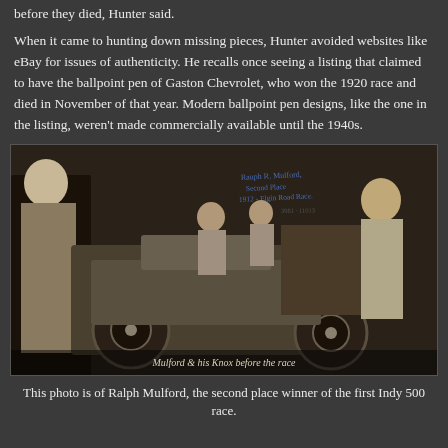before they died, Hunter said.
When it came to hunting down missing pieces, Hunter avoided websites like eBay for issues of authenticity. He recalls once seeing a listing that claimed to have the ballpoint pen of Gaston Chevrolet, who won the 1920 race and died in November of that year. Modern ballpoint pen designs, like the one in the listing, weren’t made commercially available until the 1940s.
[Figure (photo): Black and white historical photograph of Ralph Mulford standing with his Knox racing car before a race, with handwritten annotations. Caption on photo reads 'Mulford & his Knox before the race'.]
This photo is of Ralph Mulford, the second place winner of the first Indy 500 race.